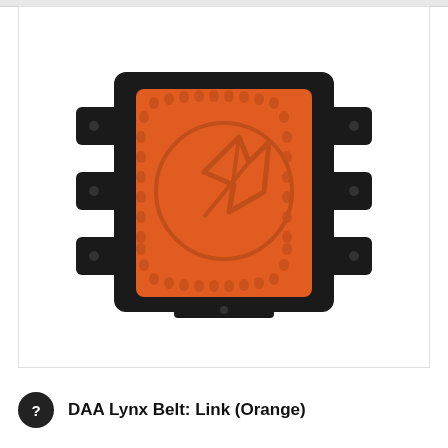[Figure (photo): Product photo of a DAA Lynx Belt Link piece in orange. The item is a rectangular black plastic belt link component with connector tabs on both sides and a center orange rubber textured pad embossed with the DAA logo (a circle with an arrow/lightning bolt design). The orange rubber insert has a paw-print pattern texture around the edges.]
DAA Lynx Belt: Link (Orange)